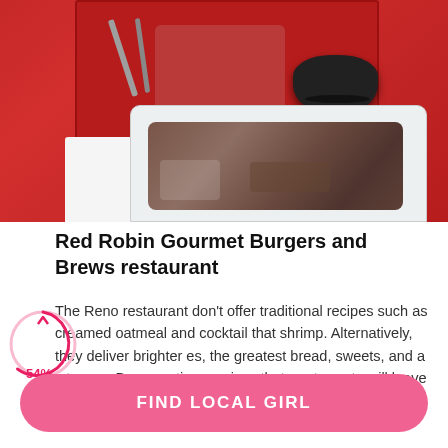[Figure (photo): Photo of Red Robin restaurant food – red tray with leftover food and fork, white dish with brownie/dessert, black sauce bowl, white napkin on red table surface]
Red Robin Gourmet Burgers and Brews restaurant
The Reno restaurant don't offer traditional recipes such as creamed oatmeal and cocktail that shrimp. Alternatively, they deliver brighter es, the greatest bread, sweets, and a lot more. Be expecting services that are top-rate will leave
[Figure (infographic): Circular arc progress indicator showing 54% in pink/red color]
FIND LOCAL GIRL